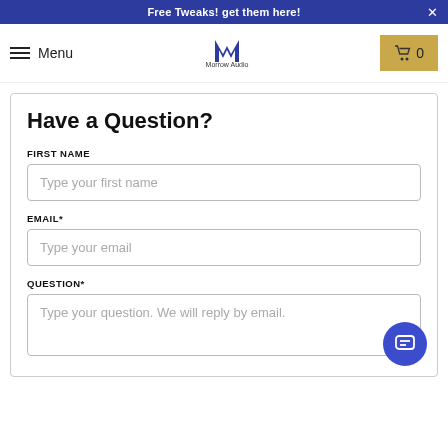Free Tweaks! get them here!
[Figure (logo): Morrow Audio logo with stylized M and text]
Have a Question?
FIRST NAME
Type your first name
EMAIL*
Type your email
QUESTION*
Type your question. We will reply by email.